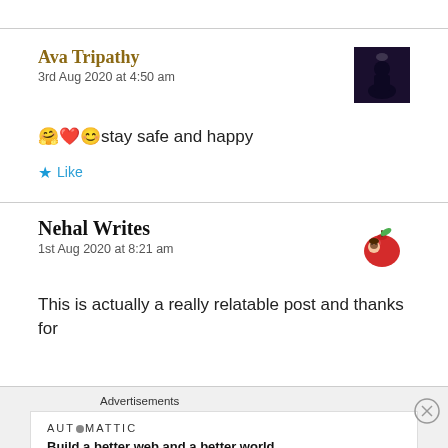Ava Tripathy
3rd Aug 2020 at 4:50 am
🤗❤️😊stay safe and happy
★ Like
Nehal Writes
1st Aug 2020 at 8:21 am
This is actually a really relatable post and thanks for
Advertisements
AUTOMATTIC
Build a better web and a better world.